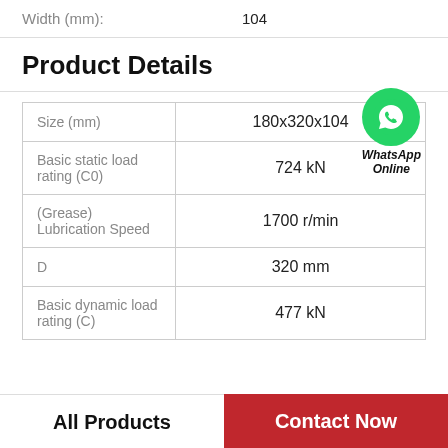Width (mm): 104
Product Details
|  |  |
| --- | --- |
| Size (mm) | 180x320x104 |
| Basic static load rating (C0) | 724 kN |
| (Grease) Lubrication Speed | 1700 r/min |
| D | 320 mm |
| Basic dynamic load rating (C) | 477 kN |
[Figure (logo): WhatsApp green circle icon with phone handset, labeled WhatsApp Online]
All Products
Contact Now